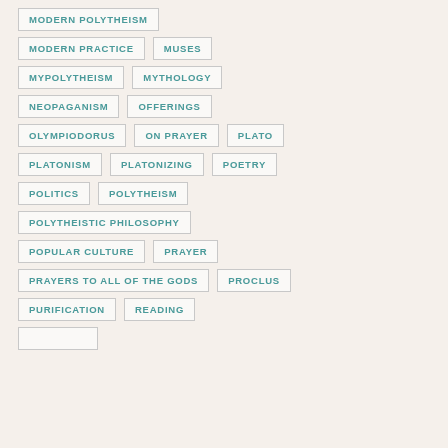MODERN POLYTHEISM
MODERN PRACTICE
MUSES
MYPOLYTHEISM
MYTHOLOGY
NEOPAGANISM
OFFERINGS
OLYMPIODORUS
ON PRAYER
PLATO
PLATONISM
PLATONIZING
POETRY
POLITICS
POLYTHEISM
POLYTHEISTIC PHILOSOPHY
POPULAR CULTURE
PRAYER
PRAYERS TO ALL OF THE GODS
PROCLUS
PURIFICATION
READING